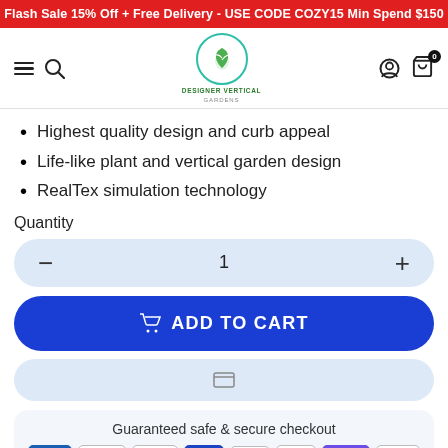Flash Sale 15% Off + Free Delivery - USE CODE COZY15 Min Spend $150
[Figure (logo): Designer Vertical Gardens logo with green leaf icon in a teal circle]
Highest quality design and curb appeal
Life-like plant and vertical garden design
RealTex simulation technology
Quantity
1
ADD TO CART
Guaranteed safe & secure checkout
[Figure (infographic): Payment method icons: Amex, Apple Pay, Google Pay, JCB, Mastercard, PayPal, OPay, Visa]